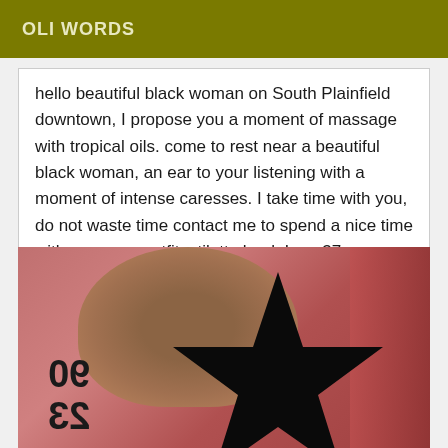OLI WORDS
hello beautiful black woman on South Plainfield downtown, I propose you a moment of massage with tropical oils. come to rest near a beautiful black woman, an ear to your listening with a moment of intense caresses. I take time with you, do not waste time contact me to spend a nice time with me, sexy outfit, stiletto heel, I am 37 years old, 1m70, 90d chest, so come see me and you will not be disappointed.
[Figure (photo): Photo of a person with a large black star shape covering their face, with fur/hair visible, against a pink/red draped background. Reversed text showing '90' and '23' visible at the bottom left.]